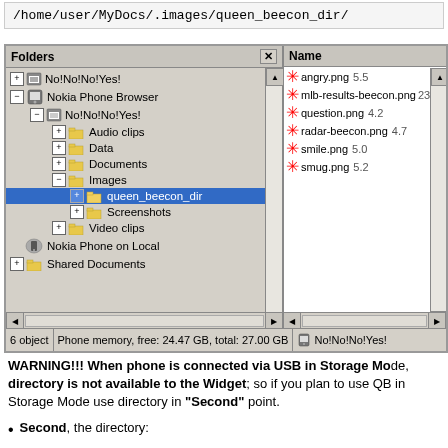/home/user/MyDocs/.images/queen_beecon_dir/
[Figure (screenshot): Nokia PC Suite file browser screenshot showing folder tree with Nokia Phone Browser > No!No!No!Yes! > Images > queen_beecon_dir selected, and right panel showing files: angry.png 5.5, mlb-results-beecon.png 23, question.png 4.2, radar-beecon.png 4.7, smile.png 5.0, smug.png 5.2. Status bar shows: 6 object, Phone memory, free: 24.47 GB, total: 27.00 GB, No!No!No!Yes!]
WARNING!!! When phone is connected via USB in Storage Mode, directory is not available to the Widget; so if you plan to use QB in Storage Mode use directory in "Second" point.
Second, the directory:
/home/user/.queen_beecon_dir